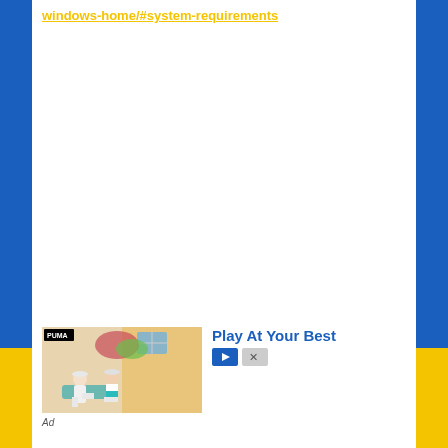windows-home/#system-requirements
[Figure (photo): Advertisement image showing two people in sportswear sitting outdoors. Text reads 'Play At Your Best'. Marked as Ad.]
Ad